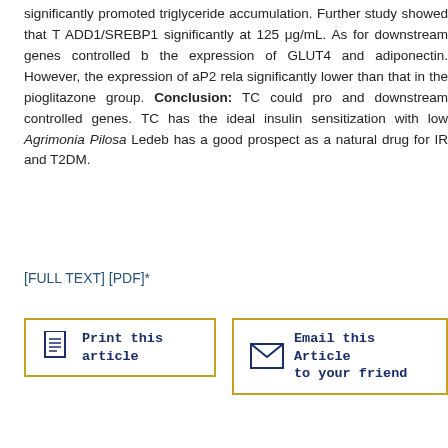significantly promoted triglyceride accumulation. Further study showed that TC inhibited ADD1/SREBP1 significantly at 125 μg/mL. As for downstream genes controlled by ADD1/SREBP1, the expression of GLUT4 and adiponectin. However, the expression of aP2 related to lipolysis was significantly lower than that in the pioglitazone group. Conclusion: TC could promote adipogenesis and downstream controlled genes. TC has the ideal insulin sensitization with lower side effects. Agrimonia Pilosa Ledeb has a good prospect as a natural drug for IR and T2DM.
[FULL TEXT] [PDF]*
[Figure (other): Print this article button with document icon]
[Figure (other): Email this Article to your friend button with envelope icon]